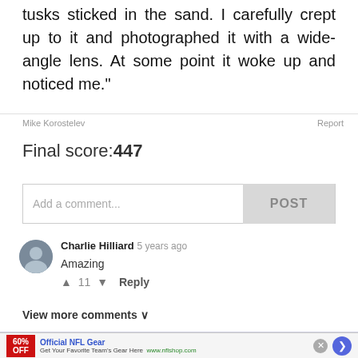tusks sticked in the sand. I carefully crept up to it and photographed it with a wide-angle lens. At some point it woke up and noticed me."
Mike Korostelev
Report
Final score: 447
Add a comment...
POST
[Figure (photo): Avatar photo of Charlie Hilliard]
Charlie Hilliard  5 years ago
Amazing
↑ 11 ↓  Reply
View more comments ∨
[Figure (infographic): Advertisement for Official NFL Gear showing 60% OFF red banner, text 'Get Your Favorite Team's Gear Here', www.nflshop.com, blue circle arrow button, and X close button]